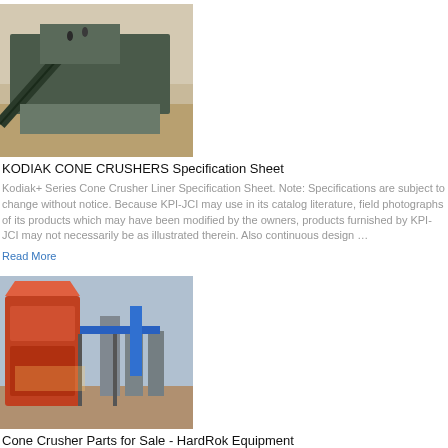[Figure (photo): Outdoor mining/crushing equipment on a construction site, conveyor belt visible, dusty terrain.]
KODIAK CONE CRUSHERS Specification Sheet
Kodiak+ Series Cone Crusher Liner Specification Sheet. Note: Specifications are subject to change without notice. Because KPI-JCI may use in its catalog literature, field photographs of its products which may have been modified by the owners, products furnished by KPI-JCI may not necessarily be as illustrated therein. Also continuous design …
Read More
[Figure (photo): Cone crusher industrial machine photographed outdoors, large red and orange crusher body with conveyor structure.]
Cone Crusher Parts for Sale - HardRok Equipment
Bowl Liner, Medium Profile. 21% Manganese, 2753 Lbs. Part Number: 5530-8385 Mantle Liner F, M, C Profile 21% Manganese, 2570 Lbs. Sold as a Set. Cone Crushers.